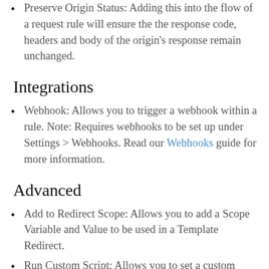Preserve Origin Status: Adding this into the flow of a request rule will ensure the the response code, headers and body of the origin's response remain unchanged.
Integrations
Webhook: Allows you to trigger a webhook within a rule. Note: Requires webhooks to be set up under Settings > Webhooks. Read our Webhooks guide for more information.
Advanced
Add to Redirect Scope: Allows you to add a Scope Variable and Value to be used in a Template Redirect.
Run Custom Script: Allows you to set a custom